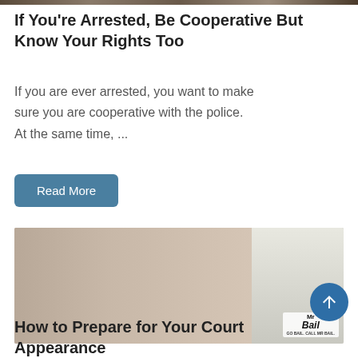[Figure (photo): Thin colored strip at top of page, appears to be a cropped photo.]
If You're Arrested, Be Cooperative But Know Your Rights Too
If you are ever arrested, you want to make sure you are cooperative with the police. At the same time, …
Read More
[Figure (photo): Young Asian woman with long dark hair, wearing a white top, posing in a light-colored room. MrBail logo visible in bottom right corner.]
How to Prepare for Your Court Appearance